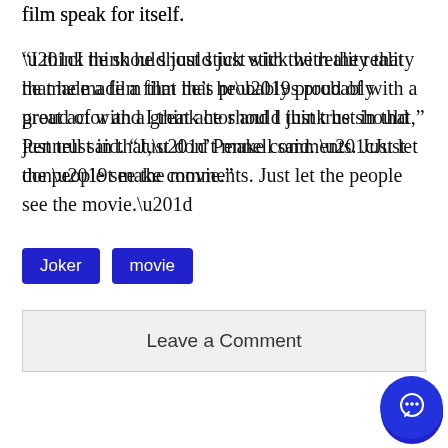film speak for itself.
“I think he should just stick with the reality that he made a film that he’s probably proud of with a great actor and I think he should just trust in that,” Pennell said. “Just don’t make comments. Just let the people see the movie.”
Joker  movie
Leave a Comment